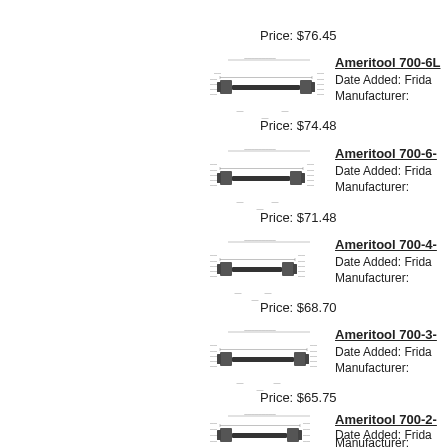Price: $76.45
[Figure (engineering-diagram): Technical drawing of Ameritool 700-6L tool with dimensions]
Ameritool 700-6L
Date Added: Frida
Manufacturer:
Price: $74.48
[Figure (engineering-diagram): Technical drawing of Ameritool 700-6- tool with dimensions]
Ameritool 700-6-
Date Added: Frida
Manufacturer:
Price: $71.48
[Figure (engineering-diagram): Technical drawing of Ameritool 700-4- tool with dimensions]
Ameritool 700-4-
Date Added: Frida
Manufacturer:
Price: $68.70
[Figure (engineering-diagram): Technical drawing of Ameritool 700-3- tool with dimensions]
Ameritool 700-3-
Date Added: Frida
Manufacturer:
Price: $65.75
[Figure (engineering-diagram): Technical drawing of Ameritool 700-2- tool with dimensions]
Ameritool 700-2-
Date Added: Frida
Manufacturer: